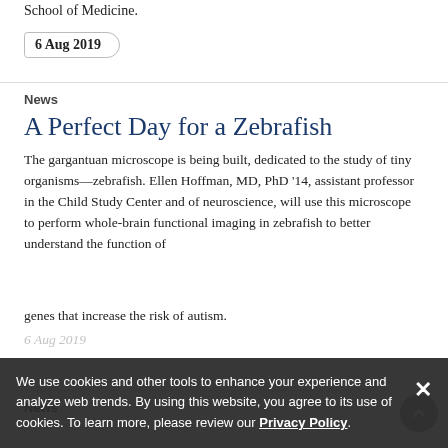School of Medicine.
6 Aug 2019
News
A Perfect Day for a Zebrafish
The gargantuan microscope is being built, dedicated to the study of tiny organisms—zebrafish. Ellen Hoffman, MD, PhD '14, assistant professor in the Child Study Center and of neuroscience, will use this microscope to perform whole-brain functional imaging in zebrafish to better understand the function of genes that increase the risk of autism.
We use cookies and other tools to enhance your experience and analyze web trends. By using this website, you agree to its use of cookies. To learn more, please review our Privacy Policy.
News